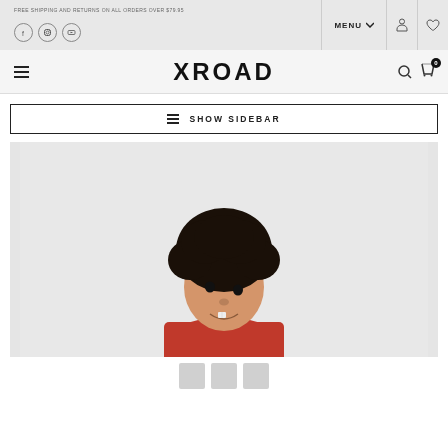FREE SHIPPING AND RETURNS ON ALL ORDERS OVER $79.95
[Figure (logo): Facebook, Instagram, YouTube social icons; MENU button; user/wishlist icons]
XROAD
≡  SHOW SIDEBAR
[Figure (photo): Young boy with curly dark hair, smiling, wearing a red turtleneck shirt, on a light grey background]